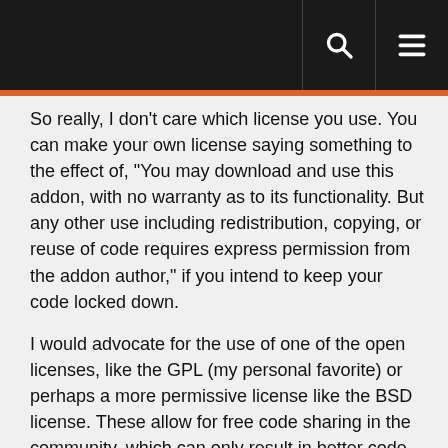So really, I don't care which license you use. You can make your own license saying something to the effect of, "You may download and use this addon, with no warranty as to its functionality. But any other use including redistribution, copying, or reuse of code requires express permission from the addon author," if you intend to keep your code locked down.
I would advocate for the use of one of the open licenses, like the GPL (my personal favorite) or perhaps a more permissive license like the BSD license. These allow for free code sharing in the community, which can only result in better code. And since we can't sell our code anymore due to the changes in the Blizzard ToU, locking code down in a proprietary licensing model doesn't really make sense for UI mods.
But regardless of how you want to lock down the rights to your addon, you need to choose some sort of license for your code if you intend for people to use it. We, as users and